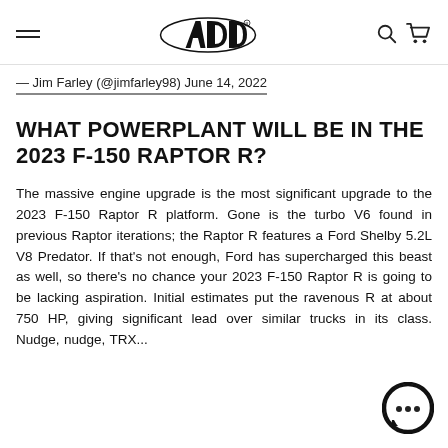ADD (logo) — navigation header with hamburger menu, ADD logo, search and cart icons
— Jim Farley (@jimfarley98) June 14, 2022
WHAT POWERPLANT WILL BE IN THE 2023 F-150 RAPTOR R?
The massive engine upgrade is the most significant upgrade to the 2023 F-150 Raptor R platform. Gone is the turbo V6 found in previous Raptor iterations; the Raptor R features a Ford Shelby 5.2L V8 Predator. If that's not enough, Ford has supercharged this beast as well, so there's no chance your 2023 F-150 Raptor R is going to be lacking aspiration. Initial estimates put the ravenous R at about 750 HP, giving significant lead over similar trucks in its class. Nudge, nudge, TRX...